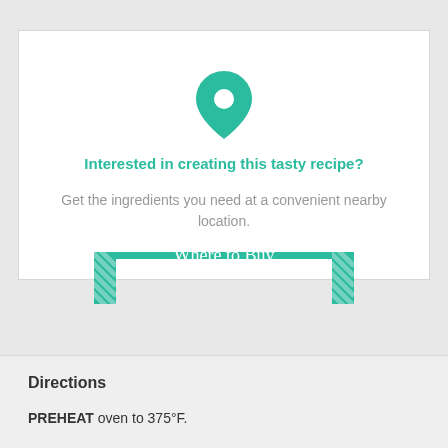[Figure (illustration): Green map pin / location marker icon]
Interested in creating this tasty recipe?
Get the ingredients you need at a convenient nearby location.
[Figure (other): Green 'Where to Buy' button with diagonal hatch pattern on left and right ends]
Directions
PREHEAT oven to 375°F.